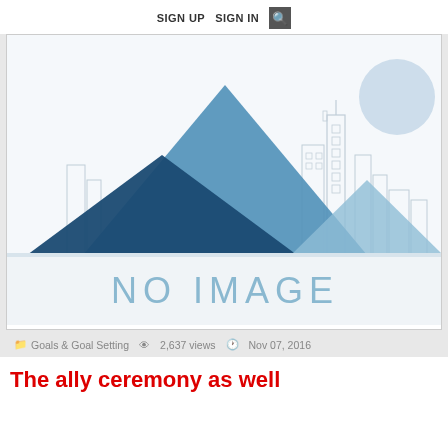SIGN UP   SIGN IN
[Figure (illustration): No image placeholder graphic with blue mountain shapes and city skyline silhouette, with 'NO IMAGE' text in light blue]
Goals & Goal Setting   2,637 views   Nov 07, 2016
The ally ceremony as well